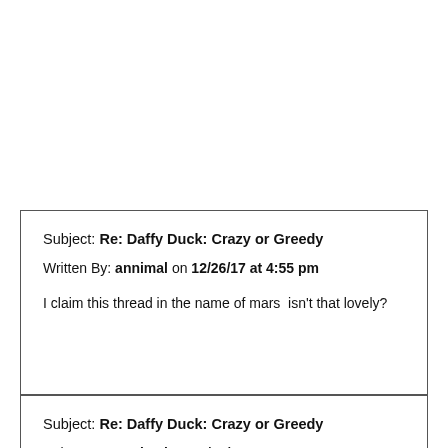Subject: Re: Daffy Duck: Crazy or Greedy
Written By: annimal on 12/26/17 at 4:55 pm
I claim this thread in the name of mars  isn't that lovely?
Subject: Re: Daffy Duck: Crazy or Greedy
Written By: annimal on 12/26/17 at 5:01 pm